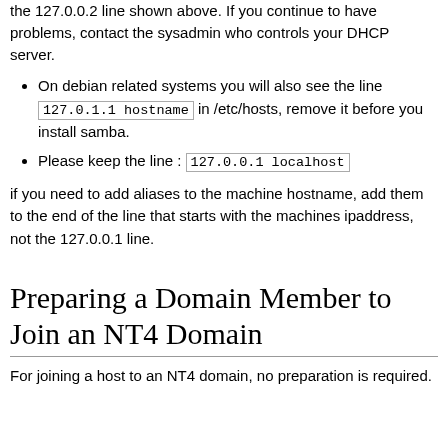the 127.0.0.2 line shown above. If you continue to have problems, contact the sysadmin who controls your DHCP server.
On debian related systems you will also see the line 127.0.1.1 hostname in /etc/hosts, remove it before you install samba.
Please keep the line : 127.0.0.1 localhost
if you need to add aliases to the machine hostname, add them to the end of the line that starts with the machines ipaddress, not the 127.0.0.1 line.
Preparing a Domain Member to Join an NT4 Domain
For joining a host to an NT4 domain, no preparation is required.